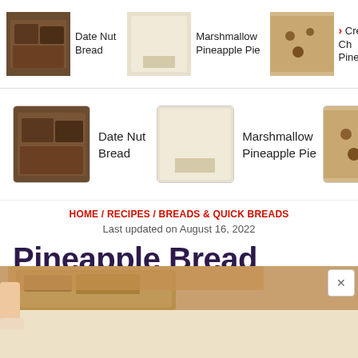[Figure (screenshot): Top horizontal carousel showing recipe thumbnails: Date Nut Bread, Marshmallow Pineapple Pie, Cream Cheese Pineapple (partial)]
[Figure (screenshot): Second horizontal carousel with larger thumbnails: Date Nut Bread, Marshmallow Pineapple Pie, Cream Cheese Pineapple (partial) with right arrow]
HOME / RECIPES / BREADS & QUICK BREADS
Last updated on August 16, 2022
Pineapple Bread
by KARLYNN JOHNSTON
★★★★★
[Figure (photo): Close-up photo of pineapple bread slices at the bottom of the page]